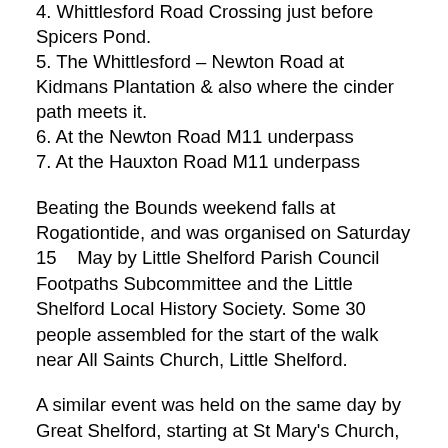4. Whittlesford Road Crossing just before Spicers Pond.
5. The Whittlesford – Newton Road at Kidmans Plantation & also where the cinder path meets it.
6. At the Newton Road M11 underpass
7. At the Hauxton Road M11 underpass
Beating the Bounds weekend falls at Rogationtide, and was organised on Saturday 15   May by Little Shelford Parish Council Footpaths Subcommittee and the Little Shelford Local History Society. Some 30 people assembled for the start of the walk near All Saints Church, Little Shelford.
A similar event was held on the same day by Great Shelford, starting at St Mary's Church, and the two groups met across the bridge in Bridge Lane.
Both parties carried out the ancient ritual of Beating The Bounds, rapping the ground with hazel twigs and claiming their territory.  The custom is believed to be